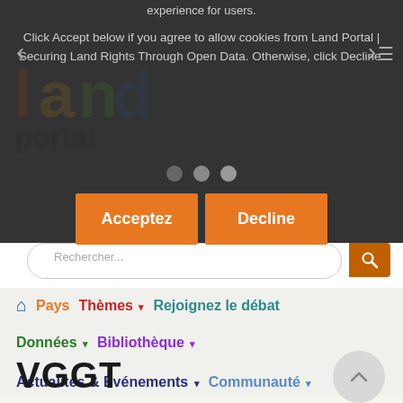experience for users.
Click Accept below if you agree to allow cookies from Land Portal | Securing Land Rights Through Open Data. Otherwise, click Decline.
[Figure (screenshot): Land Portal logo with colorful letters L,A,N,D and 'portal' text below]
[Figure (infographic): Three pagination dots for slideshow navigation]
Acceptez
Decline
Rechercher...
Pays
Thèmes
Rejoignez le débat
Données
Bibliothèque
Actualités & Événements
Communauté
VGGT